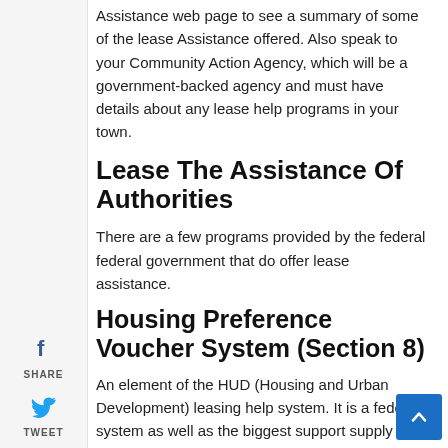Assistance web page to see a summary of some of the lease Assistance offered. Also speak to your Community Action Agency, which will be a government-backed agency and must have details about any lease help programs in your town.
Lease The Assistance Of Authorities
There are a few programs provided by the federal federal government that do offer lease assistance.
Housing Preference Voucher System (Section 8)
An element of the HUD (Housing and Urban Development) leasing help system. It is a federal system as well as the biggest support supply for housing in the united states. The program is directed at low earnings households and offers